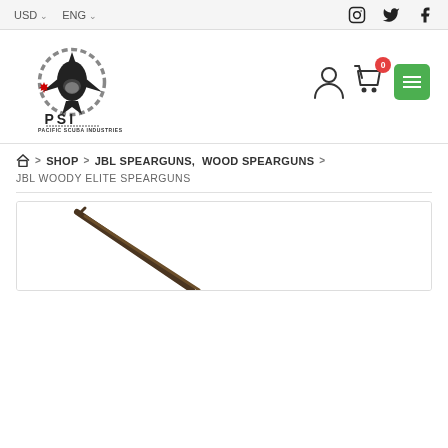USD  ENG  [Instagram] [Twitter] [Facebook]
[Figure (logo): Pacific Scuba Industries (PSI) logo with shark/orca graphic and Canadian maple leaf, text PSI PACIFIC SCUBA INDUSTRIES]
Breadcrumb: Home > SHOP > JBL SPEARGUNS, WOOD SPEARGUNS > JBL WOODY ELITE SPEARGUNS
[Figure (photo): Partial image of a speargun at bottom of page, dark-colored spear shaft visible against white background]